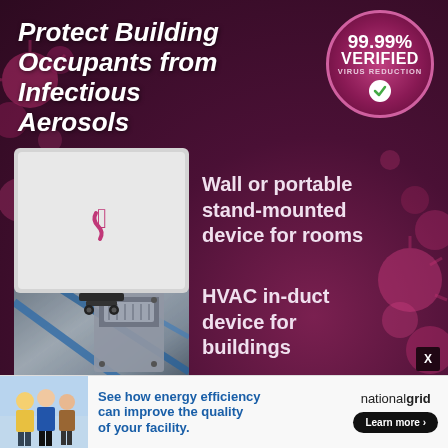Protect Building Occupants from Infectious Aerosols
[Figure (infographic): Circular badge with 99.99% VERIFIED VIRUS REDUCTION text and green checkmark]
[Figure (photo): HVAC in-duct device installed in air handling unit showing blue diagonal tubes and metallic interior]
HVAC in-duct device for buildings
[Figure (photo): Wall or portable stand-mounted air purification device — white square unit with small pink logo, mounted on stand with wheels]
Wall or portable stand-mounted device for rooms
[Figure (infographic): Footer advertisement: See how energy efficiency can improve the quality of your facility. nationalgrid Learn more button. Shows workers in safety vests.]